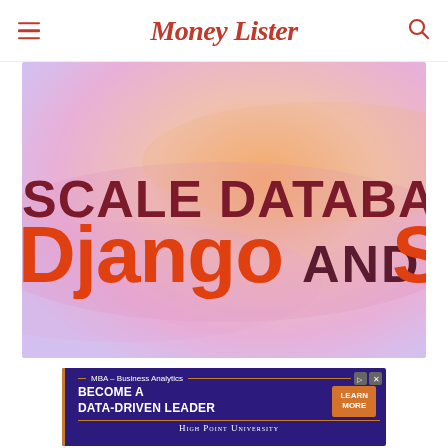Money Lister
[Figure (illustration): Hero image with gradient background (orange to pink/lavender). Text overlay reads: 'SCALE DATABASES WITH Django AND SQL' — first line in dark red, 'Django' in orange bold, 'AND' in dark, 'SQL' in orange bold, partially cropped on the right.]
[Figure (infographic): Advertisement banner for High Point University MBA – Business Analytics program. Dark purple background with orange accent. Text: 'MBA – Business Analytics', 'BECOME A DATA-DRIVEN LEADER', 'LEARN MORE' button, and 'High Point University' in small caps at the bottom.]